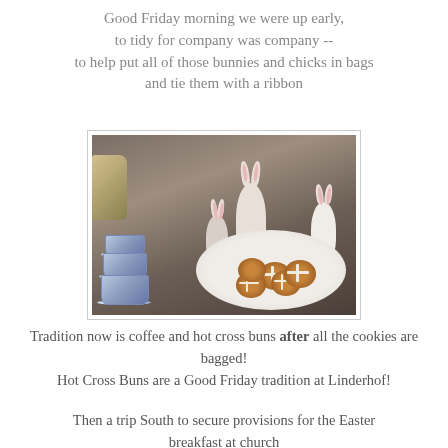Good Friday morning we were up early,
to tidy for company was company --
to help put all of those bunnies and chicks in bags
and tie them with a ribbon
[Figure (photo): A table setting with porcelain bunny figurines of various sizes, a stack of blue-and-white tea cups and saucers, a silver/gold pitcher, and a white plate piled with hot cross buns.]
Tradition now is coffee and hot cross buns after all the cookies are bagged!
Hot Cross Buns are a Good Friday tradition at Linderhof!
Then a trip South to secure provisions for the Easter breakfast at church